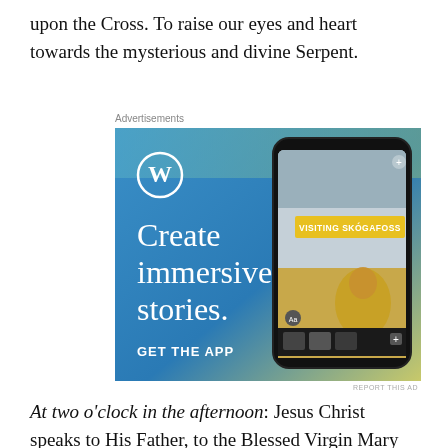upon the Cross. To raise our eyes and heart towards the mysterious and divine Serpent.
Advertisements
[Figure (screenshot): WordPress advertisement banner. Blue-to-yellow gradient background on the left, a smartphone mockup on the right showing a waterfall photo with 'VISITING SKÓGAFOSS' label. WordPress logo (W in circle) top left. Text: 'Create immersive stories.' and 'GET THE APP'.]
REPORT THIS AD
At two o'clock in the afternoon: Jesus Christ speaks to His Father, to the Blessed Virgin Mary His Mother, and to St.